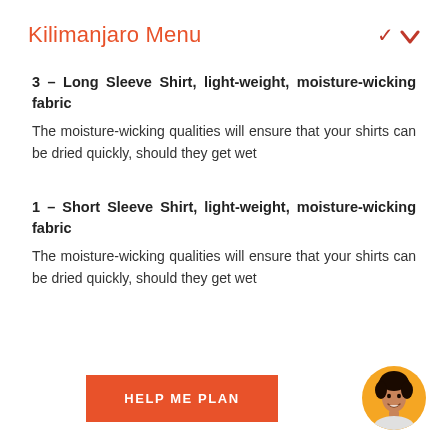Kilimanjaro Menu
3 – Long Sleeve Shirt, light-weight, moisture-wicking fabric
The moisture-wicking qualities will ensure that your shirts can be dried quickly, should they get wet
1 – Short Sleeve Shirt, light-weight, moisture-wicking fabric
The moisture-wicking qualities will ensure that your shirts can be dried quickly, should they get wet
HELP ME PLAN